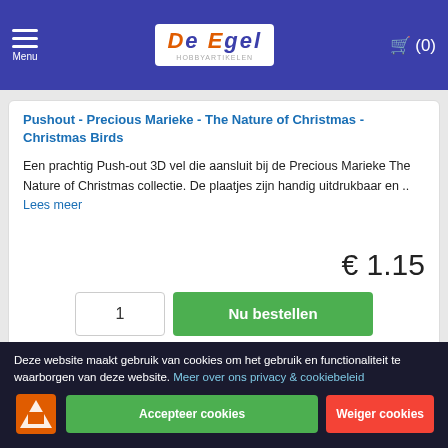De Egel Hobbyartikelen — Menu — Cart (0)
Pushout - Precious Marieke - The Nature of Christmas - Christmas Birds
Een prachtig Push-out 3D vel die aansluit bij de Precious Marieke The Nature of Christmas collectie. De plaatjes zijn handig uitdrukbaar en .. Lees meer
€ 1.15
Nu bestellen
Deze website maakt gebruik van cookies om het gebruik en functionaliteit te waarborgen van deze website. Meer over ons privacy & cookiebeleid
Accepteer cookies
Weiger cookies